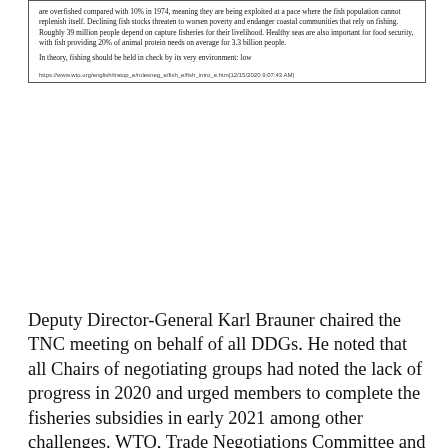[Figure (screenshot): Screenshot of a WTO webpage showing text about overfished stocks, declining fish stocks, poverty, and food security. URL shown at bottom: https://www.wto.org/english/tratop_e/rulesneg_e/fish_e/fish_intro_e.htm[12/15/2020 9:07:43 AM]]
Deputy Director-General Karl Brauner chaired the TNC meeting on behalf of all DDGs. He noted that all Chairs of negotiating groups had noted the lack of progress in 2020 and urged members to complete the fisheries subsidies in early 2021 among other challenges. WTO, Trade Negotiations Committee and Heads of Delegations Meeting, DDG Brauner urges members to step up efforts in early 2021 to agree on fish, other issues, December 14, 2020, https://www.wto.org/english/news_e/news20_e/tnc_14dec20_e.htm. Specifically, the press release quotes DDG Brauner as saying the following on fisheries subsidies negotiations